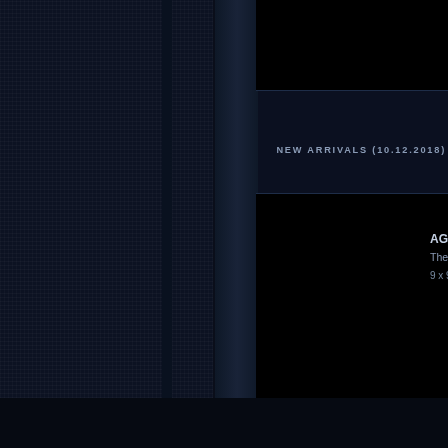[Figure (photo): Black product image thumbnail at top right, partially visible]
NEW ARRIVALS (10.12.2018)
[Figure (photo): Black product image thumbnail for AGGRESSION item]
AGGRESSION (
The Full Treatme
9 x 9 cm
NEW ARRIVALS (29.01.2016)
[Figure (photo): Black product image thumbnail for HOLYCIDE item]
HOLYCIDE
Logo [Sewn Patc
Sewn patch 12 x 6